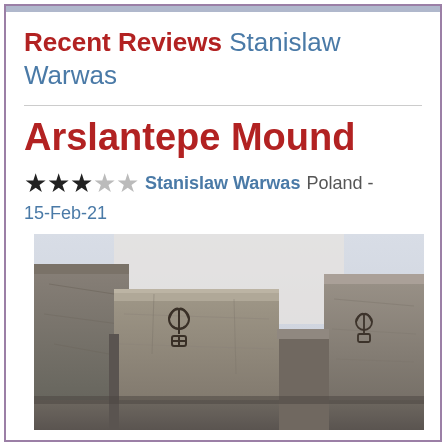Recent Reviews Stanislaw Warwas
Arslantepe Mound
★★★☆☆ Stanislaw Warwas Poland - 15-Feb-21
[Figure (photo): Archaeological stone mound ruins showing mud brick walls with ancient inscriptions/markings, photographed indoors at Arslantepe Mound site.]